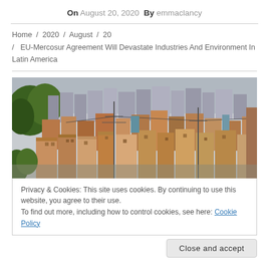On August 20, 2020  By emmaclancy
Home / 2020 / August / 20 / EU-Mercosur Agreement Will Devastate Industries And Environment In Latin America
[Figure (photo): Aerial view of a densely packed hillside slum/favela with brick and concrete structures, utility poles, and lush greenery visible at the edges.]
Privacy & Cookies: This site uses cookies. By continuing to use this website, you agree to their use.
To find out more, including how to control cookies, see here: Cookie Policy
Close and accept